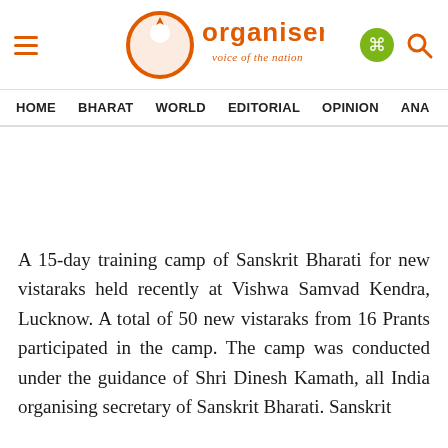Organiser — voice of the nation
HOME   BHARAT   WORLD   EDITORIAL   OPINION   ANA
A 15-day training camp of Sanskrit Bharati for new vistaraks held recently at Vishwa Samvad Kendra, Lucknow. A total of 50 new vistaraks from 16 Prants participated in the camp. The camp was conducted under the guidance of Shri Dinesh Kamath, all India organising secretary of Sanskrit Bharati. Sanskrit